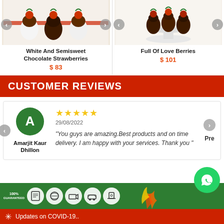[Figure (photo): Product image: White And Semisweet Chocolate Strawberries with left/right nav arrows]
White And Semisweet Chocolate Strawberries
$ 83
[Figure (photo): Product image: Full Of Love Berries (chocolate-covered strawberries on pedestal) with nav arrows]
Full Of Love Berries
$ 101
CUSTOMER REVIEWS
★★★★★
29/08/2022
"You guys are amazing.Best products and on time delivery. I am happy with your services. Thank you "
— Amarjit Kaur Dhillon
[Figure (screenshot): WhatsApp contact button (green circle with phone icon)]
[Figure (infographic): Footer green bar with 100% GUARANTEED badge and service icons]
Updates on COVID-19..